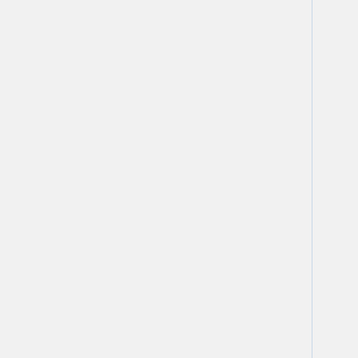Fiore de'i Liberi/Sword in Hand (view source)
Fiore de'i Liberi/Sword in Hands (view source)
Fiore de'i Liberi/Sword in Hands/Narrow Play (view source)
Fiore de'i Liberi/Sword in Hands/Wide Play (view source)
Fiore de'i Liberi/Sword vs … (view source)
Fiore de'i Liberi/Sword vs … (view source)
Gladiatoria group (view source)
Hande Trucken (view source)
Hans Talhoffer (view source)
Joachim Meyer (view source)
Johan Liechtnawers Fechgeschriebenn (MS Dresd…) (view source)
Johannes Hartlieb (view source)